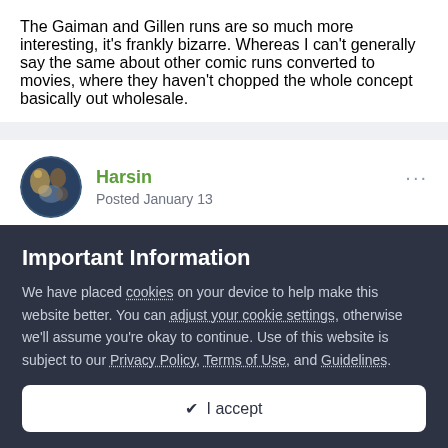The Gaiman and Gillen runs are so much more interesting, it's frankly bizarre. Whereas I can't generally say the same about other comic runs converted to movies, where they haven't chopped the whole concept basically out wholesale.
Harsin
Posted January 13
I'm so glad that I watched No Way Home before I saw this or I'd
Important Information
We have placed cookies on your device to help make this website better. You can adjust your cookie settings, otherwise we'll assume you're okay to continue. Use of this website is subject to our Privacy Policy, Terms of Use, and Guidelines.
✓  I accept